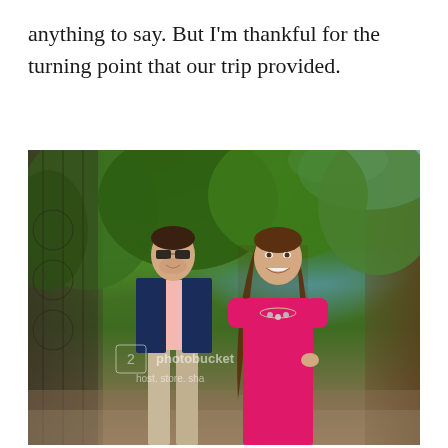anything to say. But I'm thankful for the turning point that our trip provided.
[Figure (photo): A couple posing outdoors in front of an ivy-covered iron gate and wooden fence. The man is on the left wearing sunglasses, a navy blazer, pink shirt, and khaki pants. The woman on the right is wearing a bright pink dress with a statement necklace and has long brown hair. Green trees and bushes visible in the background. Photobucket watermark visible.]